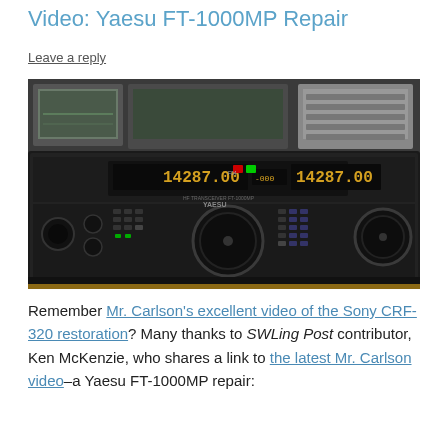Video: Yaesu FT-1000MP Repair
Leave a reply
[Figure (photo): Yaesu FT-1000MP amateur radio transceiver sitting on a workbench surrounded by test equipment including an oscilloscope and other instruments. The radio displays 14.287.00 MHz on its frequency display.]
Remember Mr. Carlson's excellent video of the Sony CRF-320 restoration? Many thanks to SWLing Post contributor, Ken McKenzie, who shares a link to the latest Mr. Carlson video–a Yaesu FT-1000MP repair: